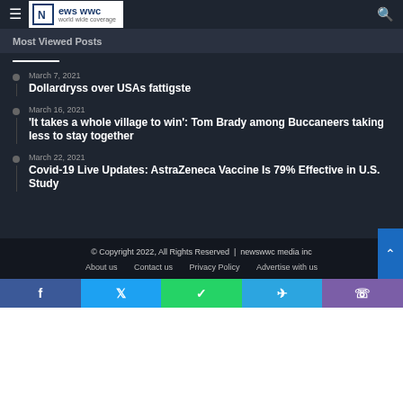News WWC - world wide coverage
Most Viewed Posts
March 7, 2021
Dollardryss over USAs fattigste
March 16, 2021
'It takes a whole village to win': Tom Brady among Buccaneers taking less to stay together
March 22, 2021
Covid-19 Live Updates: AstraZeneca Vaccine Is 79% Effective in U.S. Study
© Copyright 2022, All Rights Reserved | newswwc media inc
About us   Contact us   Privacy Policy   Advertise with us